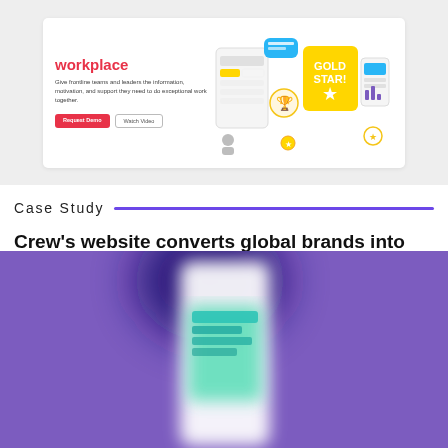[Figure (screenshot): Banner advertisement for a workplace software product showing colorful gamification icons (gold star badge, trophy, mobile devices) on a white card with red headline text 'workplace', descriptive body text, and two buttons (Request Demo, Watch Video) against a light grey background.]
Case Study
Crew’s website converts global brands into loyal customers
[Figure (screenshot): Purple background image showing a blurred smartphone mockup with a teal/white Crew app interface, with a dark blue blurred blob shape overlapping the top of the phone.]